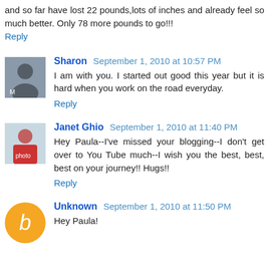and so far have lost 22 pounds,lots of inches and already feel so much better. Only 78 more pounds to go!!!
Reply
Sharon  September 1, 2010 at 10:57 PM
I am with you. I started out good this year but it is hard when you work on the road everyday.
Reply
Janet Ghio  September 1, 2010 at 11:40 PM
Hey Paula--I've missed your blogging--I don't get over to You Tube much--I wish you the best, best, best on your journey!! Hugs!!
Reply
Unknown  September 1, 2010 at 11:50 PM
Hey Paula!